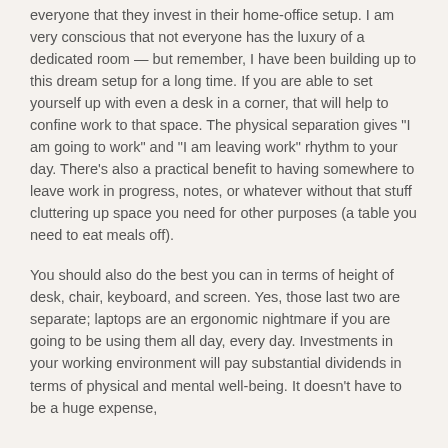everyone that they invest in their home-office setup. I am very conscious that not everyone has the luxury of a dedicated room — but remember, I have been building up to this dream setup for a long time. If you are able to set yourself up with even a desk in a corner, that will help to confine work to that space. The physical separation gives "I am going to work" and "I am leaving work" rhythm to your day. There's also a practical benefit to having somewhere to leave work in progress, notes, or whatever without that stuff cluttering up space you need for other purposes (a table you need to eat meals off).
You should also do the best you can in terms of height of desk, chair, keyboard, and screen. Yes, those last two are separate; laptops are an ergonomic nightmare if you are going to be using them all day, every day. Investments in your working environment will pay substantial dividends in terms of physical and mental well-being. It doesn't have to be a huge expense,